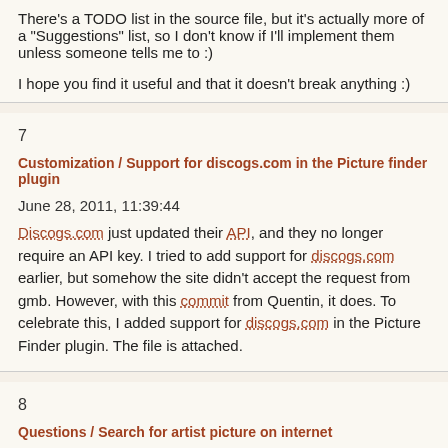There's a TODO list in the source file, but it's actually more of a "Suggestions" list, so I don't know if I'll implement them unless someone tells me to :)
I hope you find it useful and that it doesn't break anything :)
7
Customization / Support for discogs.com in the Picture finder plugin
June 28, 2011, 11:39:44
Discogs.com just updated their API, and they no longer require an API key. I tried to add support for discogs.com earlier, but somehow the site didn't accept the request from gmb. However, with this commit from Quentin, it does. To celebrate this, I added support for discogs.com in the Picture Finder plugin. The file is attached.
8
Questions / Search for artist picture on internet
April 11, 2011, 14:02:59